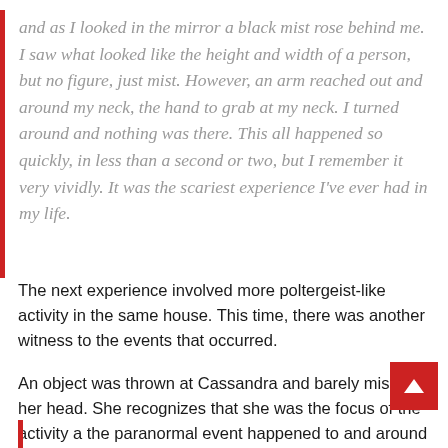and as I looked in the mirror a black mist rose behind me. I saw what looked like the height and width of a person, but no figure, just mist. However, an arm reached out and around my neck, the hand to grab at my neck. I turned around and nothing was there. This all happened so quickly, in less than a second or two, but I remember it very vividly. It was the scariest experience I've ever had in my life.
The next experience involved more poltergeist-like activity in the same house. This time, there was another witness to the events that occurred.
An object was thrown at Cassandra and barely missed her head. She recognizes that she was the focus of the activity a the paranormal event happened to and around her. When we are talking about poltergeist activity, we would consider Cassandra to be what's called an agent.